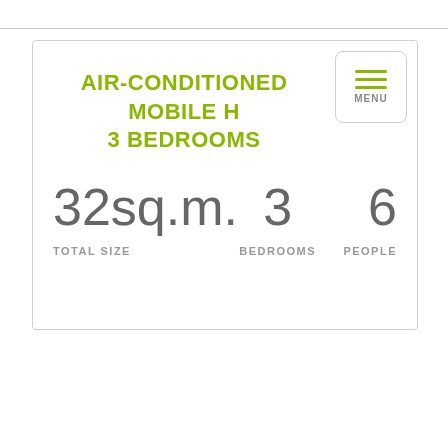AIR-CONDITIONED MOBILE H… 3 BEDROOMS
32sq.m. — TOTAL SIZE | 3 — BEDROOMS | 6 — PEOPLE